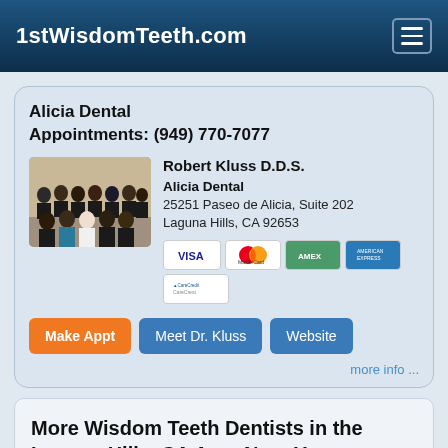1stWisdomTeeth.com
Alicia Dental
Appointments: (949) 770-7077
[Figure (photo): Group photo of dental office staff in dark uniforms standing and sitting in rows]
Robert Kluss D.D.S.
Alicia Dental
25251 Paseo de Alicia, Suite 202
Laguna Hills, CA 92653
[Figure (other): Payment method icons: VISA, MasterCard, American Express, Discover/AMEX, CareCredit]
Make Appt   Meet Dr. Kluss   Website
more info ...
More Wisdom Teeth Dentists in the Laguna Hills, CA Area Near You